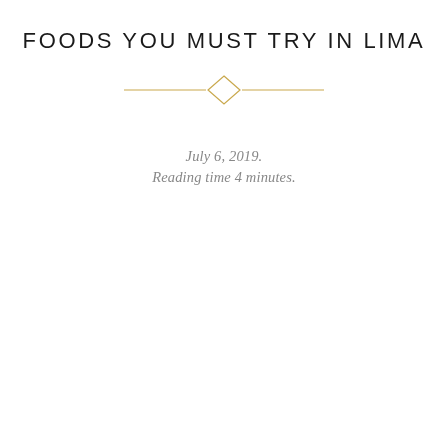FOODS YOU MUST TRY IN LIMA
[Figure (illustration): Decorative horizontal divider with a diamond shape in the center, rendered in gold/amber color]
July 6, 2019.
Reading time 4 minutes.